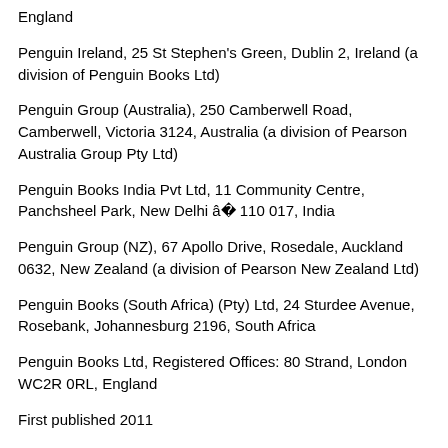England
Penguin Ireland, 25 St Stephen's Green, Dublin 2, Ireland (a division of Penguin Books Ltd)
Penguin Group (Australia), 250 Camberwell Road, Camberwell, Victoria 3124, Australia (a division of Pearson Australia Group Pty Ltd)
Penguin Books India Pvt Ltd, 11 Community Centre, Panchsheel Park, New Delhi â 110 017, India
Penguin Group (NZ), 67 Apollo Drive, Rosedale, Auckland 0632, New Zealand (a division of Pearson New Zealand Ltd)
Penguin Books (South Africa) (Pty) Ltd, 24 Sturdee Avenue, Rosebank, Johannesburg 2196, South Africa
Penguin Books Ltd, Registered Offices: 80 Strand, London WC2R 0RL, England
First published 2011
1 3 3 4 5 6 7 8 9 10 (PPP)